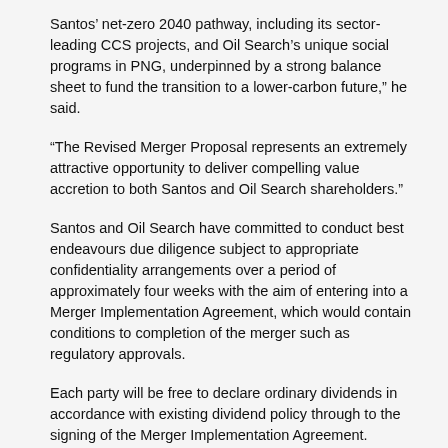Santos’ net-zero 2040 pathway, including its sector-leading CCS projects, and Oil Search’s unique social programs in PNG, underpinned by a strong balance sheet to fund the transition to a lower-carbon future,” he said.
“The Revised Merger Proposal represents an extremely attractive opportunity to deliver compelling value accretion to both Santos and Oil Search shareholders.”
Santos and Oil Search have committed to conduct best endeavours due diligence subject to appropriate confidentiality arrangements over a period of approximately four weeks with the aim of entering into a Merger Implementation Agreement, which would contain conditions to completion of the merger such as regulatory approvals.
Each party will be free to declare ordinary dividends in accordance with existing dividend policy through to the signing of the Merger Implementation Agreement.